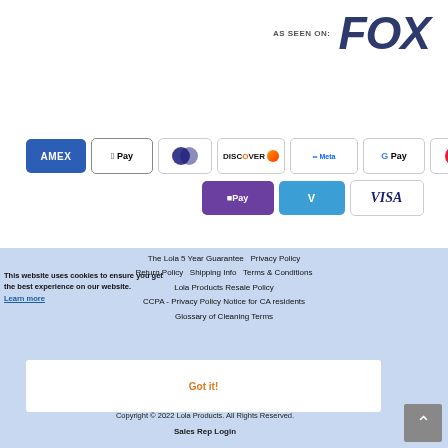[Figure (logo): AS SEEN ON: FOX logo in dark blue bold italic text]
[Figure (infographic): Payment method icons: American Express, Apple Pay, Diners Club, Discover, Meta Pay, Google Pay, Mastercard, PayPal, OPay, Venmo, Visa]
The Lola 5 Year Guarantee   Privacy Policy   Return Policy   Shipping Info   Terms & Conditions   Lola Products Resale Policy   CCPA - Privacy Notice for CA residents   Glossary of Cleaning Terms
This website uses cookies to ensure you get the best experience on our website. Learn more
Got it!
Copyright © 2022 Lola Products. All Rights Reserved.
Sales Rep Login